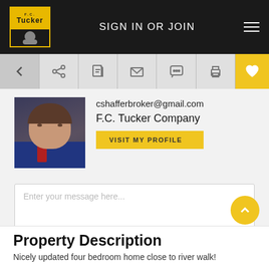SIGN IN OR JOIN
[Figure (screenshot): Navigation toolbar with back arrow, share, document, email, chat, print icons, and yellow heart/favorite button]
[Figure (photo): Headshot photo of a female real estate agent in a blue jacket]
cshafferbroker@gmail.com
F.C. Tucker Company
VISIT MY PROFILE
Enter your message here...
REQUEST MORE INFO
Property Description
Nicely updated four bedroom home close to river walk!